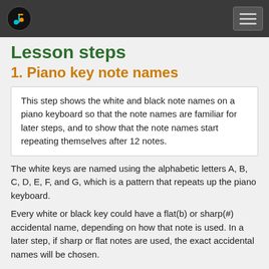Lesson steps
1. Piano key note names
This step shows the white and black note names on a piano keyboard so that the note names are familiar for later steps, and to show that the note names start repeating themselves after 12 notes.
The white keys are named using the alphabetic letters A, B, C, D, E, F, and G, which is a pattern that repeats up the piano keyboard.
Every white or black key could have a flat(b) or sharp(#) accidental name, depending on how that note is used. In a later step, if sharp or flat notes are used, the exact accidental names will be chosen.